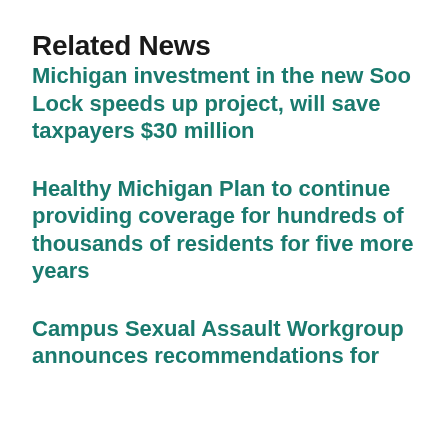Related News
Michigan investment in the new Soo Lock speeds up project, will save taxpayers $30 million
Healthy Michigan Plan to continue providing coverage for hundreds of thousands of residents for five more years
Campus Sexual Assault Workgroup announces recommendations for